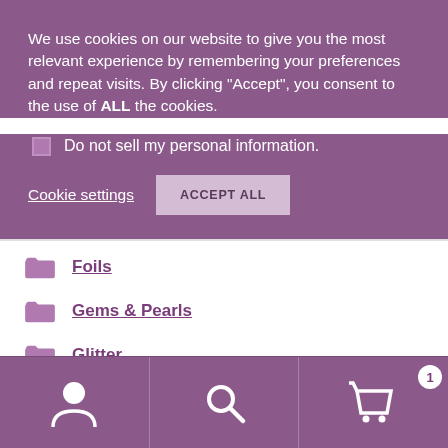We use cookies on our website to give you the most relevant experience by remembering your preferences and repeat visits. By clicking “Accept”, you consent to the use of ALL the cookies.
Do not sell my personal information.
Cookie settings
ACCEPT ALL
Foils
Gems & Pearls
Glitter
Ink & Liquid Pearls
Ink Pads
[Figure (other): Bottom navigation bar with user account icon, search icon, and shopping cart icon with badge showing 1]